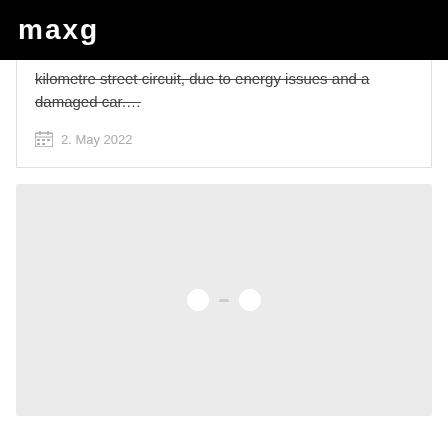maxg
kilometre street circuit, due to energy issues and a damaged car....
2. May 2022
[Figure (photo): Loading placeholder with grey background and two white dots with a line separator, indicating an image loading state]